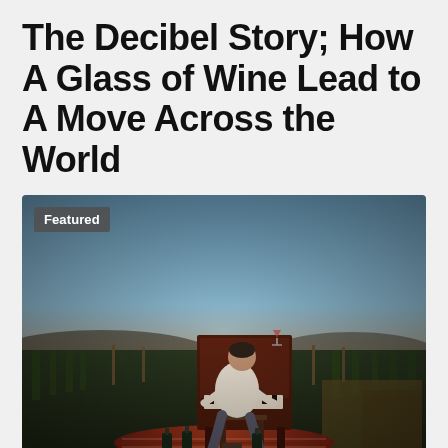The Decibel Story; How A Glass of Wine Lead to A Move Across the World
[Figure (photo): A man sitting at an upright piano outdoors in a vineyard at dusk/sunset. He is wearing a white shirt and dark pants, seated on a wooden chair, playing piano. A patterned red rug is beneath the piano with wine bottles on it. Green vineyard rows and fence posts extend into the background under a dusky blue-orange sky. A badge reading 'Featured' appears in the top-left corner of the image.]